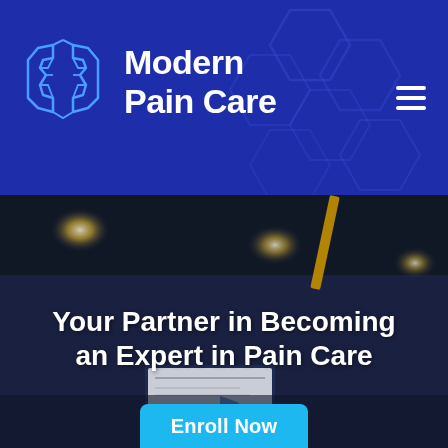[Figure (logo): Modern Pain Care website header with blue background, hexagonal brain logo icon in blue outline style, bold white text 'Modern Pain Care', and hexagonal geometric pattern in background. Hamburger menu icon top right.]
[Figure (photo): Dark photo of a classroom or conference room interior with ceiling lights visible. Yellow structural element visible. Presentation screens visible in lower portion.]
Your Partner in Becoming an Expert in Pain Care
Enroll Now